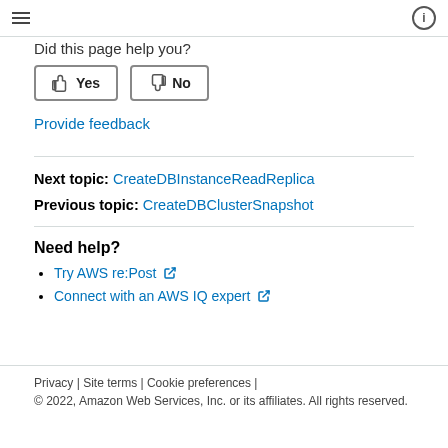☰  ⓘ
Did this page help you?
👍 Yes  👎 No
Provide feedback
Next topic: CreateDBInstanceReadReplica
Previous topic: CreateDBClusterSnapshot
Need help?
Try AWS re:Post ↗
Connect with an AWS IQ expert ↗
Privacy | Site terms | Cookie preferences | © 2022, Amazon Web Services, Inc. or its affiliates. All rights reserved.